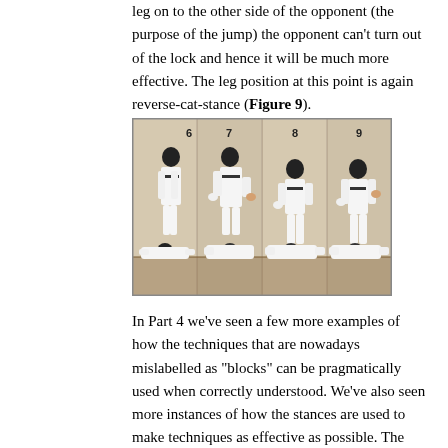leg on to the other side of the opponent (the purpose of the jump) the opponent can't turn out of the lock and hence it will be much more effective. The leg position at this point is again reverse-cat-stance (Figure 9).
[Figure (photo): Four-panel photo sequence numbered 6-9 showing martial arts technique: standing practitioner in white gi applying joint lock/ground control technique on opponent lying on the floor]
In Part 4 we've seen a few more examples of how the techniques that are nowadays mislabelled as "blocks" can be pragmatically used when correctly understood. We've also seen more instances of how the stances are used to make techniques as effective as possible. The techniques we've looked at in